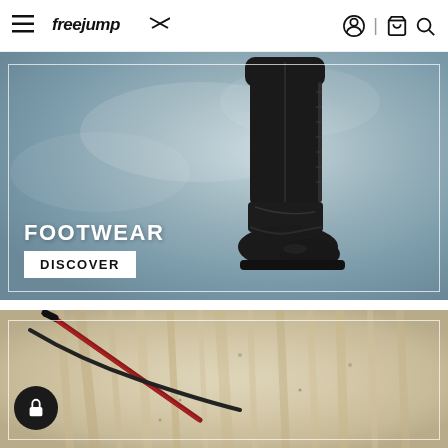freejump (logo) with navigation icons: hamburger menu, user account, cart, search
[Figure (photo): Tall black equestrian riding boot shown from knee down against a muted blue-grey background. White rectangular border overlay on the image. Text overlay reads FOOTWEAR with DISCOVER button below.]
FOOTWEAR
DISCOVER
[Figure (photo): Close-up photo of a horse's back/mane (white with dark speckles) with what appears to be riding equipment (red and black whip or crop) on the horse. White rectangular border overlay. Black circular lock button in the lower left corner.]